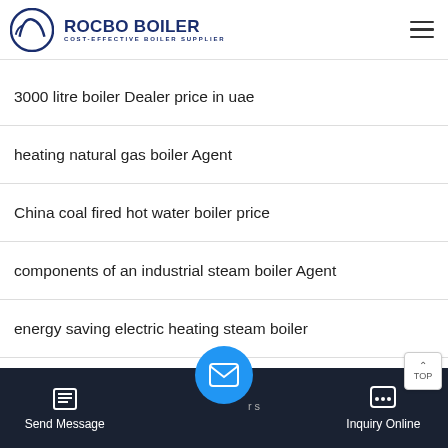ROCBO BOILER — COST-EFFECTIVE BOILER SUPPLIER
3000 litre boiler Dealer price in uae
heating natural gas boiler Agent
China coal fired hot water boiler price
components of an industrial steam boiler Agent
energy saving electric heating steam boiler
steam boiler for heating
Industry Steam Atmospheric Water Tube Boiler Price
Send Message | Inquiry Online